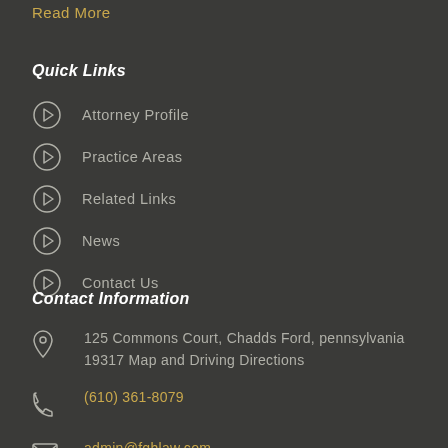Read More
Quick Links
Attorney Profile
Practice Areas
Related Links
News
Contact Us
Contact Information
125 Commons Court, Chadds Ford, pennsylvania 19317 Map and Driving Directions
(610) 361-8079
admin@fqhlaw.com